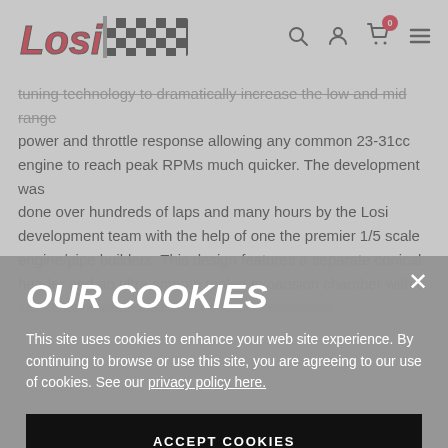[Figure (logo): Losi logo with checkered flag graphic]
tuning technology to dramatically increase the low and mid range power and throttle response allowing any common 23-31cc engine to reach peak RPMs much quicker. The development was done over hundreds of laps and many hours by the Losi development team with the help of one the premier 1/5 scale engine/pipe builders. This design features a separate conical header and an ultra smooth tooled expansion chamber with a
OUR COOKIES
This site uses cookies to enhance your web site experience. By continuing to browse or use this site, you are agreeing to our use of cookies. See our privacy policy here.
ACCEPT COOKIES